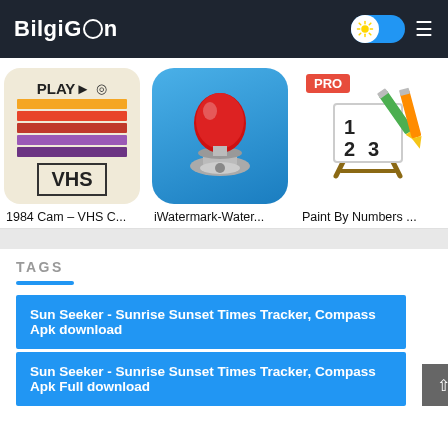BilgiGon
[Figure (screenshot): Three app icons: 1984 Cam VHS C..., iWatermark-Water..., Paint By Numbers...]
1984 Cam – VHS C...
iWatermark-Water...
Paint By Numbers ...
TAGS
Sun Seeker - Sunrise Sunset Times Tracker, Compass Apk download
Sun Seeker - Sunrise Sunset Times Tracker, Compass Apk Full download